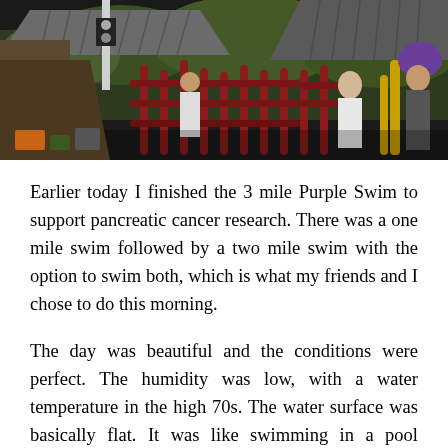[Figure (photo): Outdoor photo showing a covered structure with a metal/corrugated roof, red pipe railings or equipment, people in the background, green trees, and what appears to be a water park or outdoor recreational facility. The image is slightly dark and taken in daylight.]
Earlier today I finished the 3 mile Purple Swim to support pancreatic cancer research. There was a one mile swim followed by a two mile swim with the option to swim both, which is what my friends and I chose to do this morning.
The day was beautiful and the conditions were perfect. The humidity was low, with a water temperature in the high 70s. The water surface was basically flat. It was like swimming in a pool without having to do any flip turns.